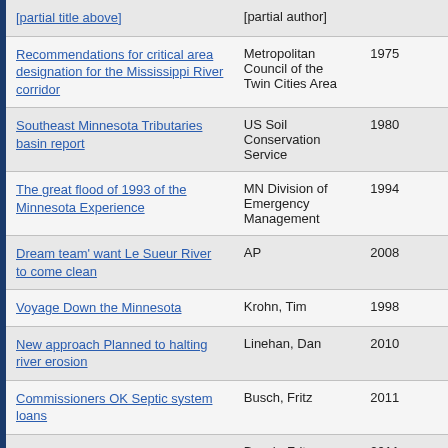| Title | Author | Year |
| --- | --- | --- |
| Recommendations for critical area designation for the Mississippi River corridor | Metropolitan Council of the Twin Cities Area | 1975 |
| Southeast Minnesota Tributaries basin report | US Soil Conservation Service | 1980 |
| The great flood of 1993 of the Minnesota Experience | MN Division of Emergency Management | 1994 |
| Dream team' want Le Sueur River to come clean | AP | 2008 |
| Voyage Down the Minnesota | Krohn, Tim | 1998 |
| New approach Planned to halting river erosion | Linehan, Dan | 2010 |
| Commissioners OK Septic system loans | Busch, Fritz | 2011 |
| Commissioners Consider Septic System Loans | Busch, Fritz | 2011 |
| Assessing depressional wetland quantity and quality using a |  |  |